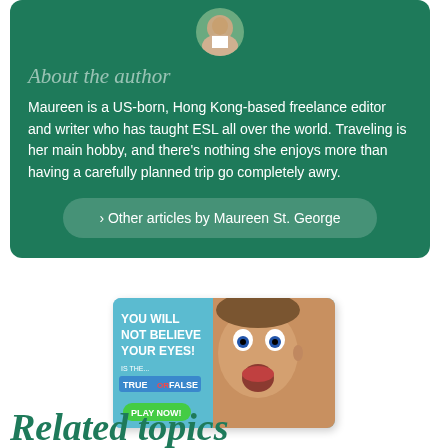[Figure (photo): Circular avatar photo of the author, partially visible at the top of the green author card]
About the author
Maureen is a US-born, Hong Kong-based freelance editor and writer who has taught ESL all over the world. Traveling is her main hobby, and there's nothing she enjoys more than having a carefully planned trip go completely awry.
› Other articles by Maureen St. George
[Figure (screenshot): Advertisement banner showing a man with wide open eyes and the text: YOU WILL NOT BELIEVE YOUR EYES! IS THE... TRUE OR FALSE PLAY NOW!]
Related topics